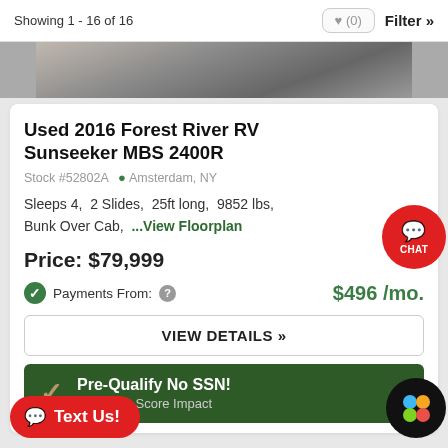Showing 1 - 16 of 16  ♥ (0)  Filter »
[Figure (photo): Partial view of an RV vehicle photo strip at the top of the listing card]
Used 2016 Forest River RV Sunseeker MBS 2400R
Stock #52802A  Amsterdam, NY
Sleeps 4,  2 Slides,  25ft long,  9852 lbs,  Bunk Over Cab,  ...View Floorplan
Price: $79,999
Payments From:  $496 /mo.
VIEW DETAILS »
Pre-Qualify No SSN!  No Credit Score Impact